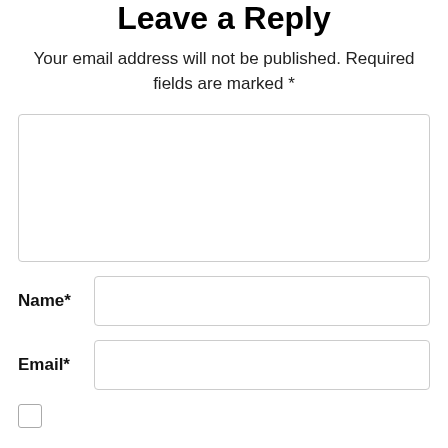Leave a Reply
Your email address will not be published. Required fields are marked *
[Figure (other): Large comment text area input box]
Name*
[Figure (other): Name input field]
Email*
[Figure (other): Email input field]
[Figure (other): Checkbox (unchecked)]